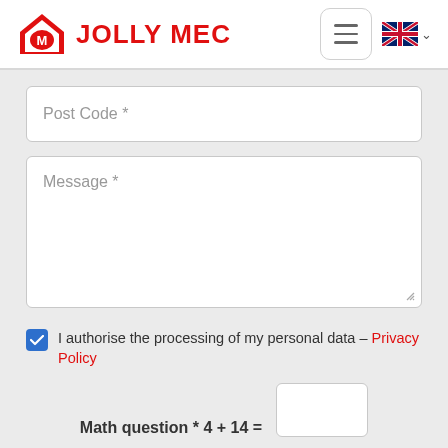[Figure (logo): Jolly Mec red house logo with M inside, followed by bold red text JOLLY MEC]
[Figure (other): Hamburger menu button (three horizontal lines in rounded rectangle) and UK flag with dropdown chevron]
Post Code *
Message *
I authorise the processing of my personal data - Privacy Policy
Math question * 4 + 14 =